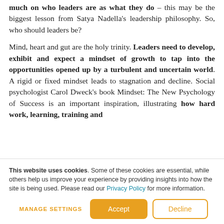much on who leaders are as what they do – this may be the biggest lesson from Satya Nadella's leadership philosophy. So, who should leaders be?

Mind, heart and gut are the holy trinity. Leaders need to develop, exhibit and expect a mindset of growth to tap into the opportunities opened up by a turbulent and uncertain world. A rigid or fixed mindset leads to stagnation and decline. Social psychologist Carol Dweck's book Mindset: The New Psychology of Success is an important inspiration, illustrating how hard work, learning, training and
This website uses cookies. Some of these cookies are essential, while others help us improve your experience by providing insights into how the site is being used. Please read our Privacy Policy for more information.
MANAGE SETTINGS | Accept | Decline